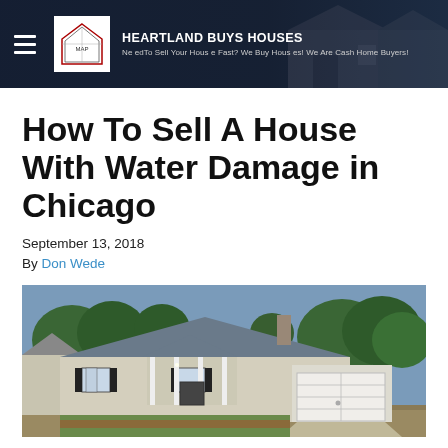HEARTLAND BUYS HOUSES
Need To Sell Your House Fast? We Buy Houses! We Are Cash Home Buyers!
How To Sell A House With Water Damage in Chicago
September 13, 2018
By Don Wede
[Figure (photo): Exterior photo of a single-story ranch-style house with gray roof, beige siding, black shutters, white columns on a front porch, a two-car garage, and trees in the background.]
Many sellers face adversity when selling their home. There are all kinds of things that happen to a property to make a homeowner feel the house is unsellable. In our latest post, we